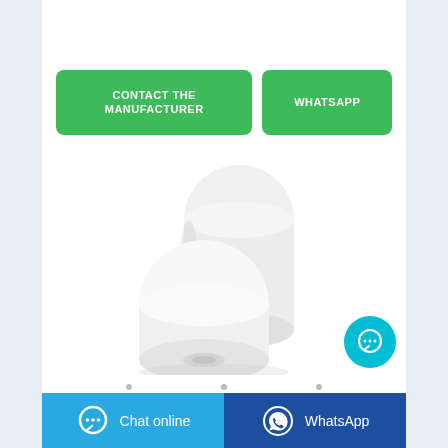[Figure (screenshot): Two green buttons: 'CONTACT THE MANUFACTURER' and 'WHATSAPP']
[Figure (photo): Two rolls of white paper/tissue on white background]
[Figure (infographic): Cyan chat bubble icon in bottom right corner]
[Figure (infographic): Bottom navigation bar with 'Chat online' (cyan) and 'WhatsApp' (dark blue) buttons with icons]